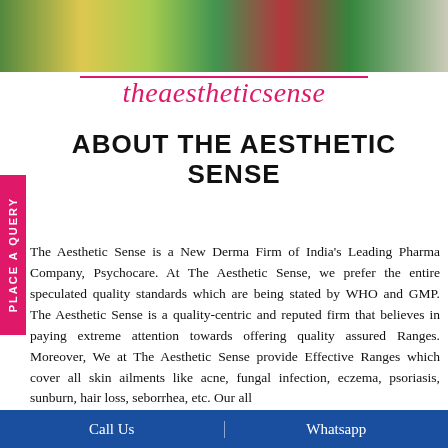[Figure (photo): Top banner with product images including herbal/natural products, cosmetic jars, and vegetables/plants in green, yellow, red tones]
theaestheticsense
ABOUT THE AESTHETIC SENSE
The Aesthetic Sense is a New Derma Firm of India's Leading Pharma Company, Psychocare. At The Aesthetic Sense, we prefer the entire speculated quality standards which are being stated by WHO and GMP. The Aesthetic Sense is a quality-centric and reputed firm that believes in paying extreme attention towards offering quality assured Ranges. Moreover, We at The Aesthetic Sense provide Effective Ranges which cover all skin ailments like acne, fungal infection, eczema, psoriasis, sunburn, hair loss, seborrhea, etc. Our all
Call Us | Whatsapp